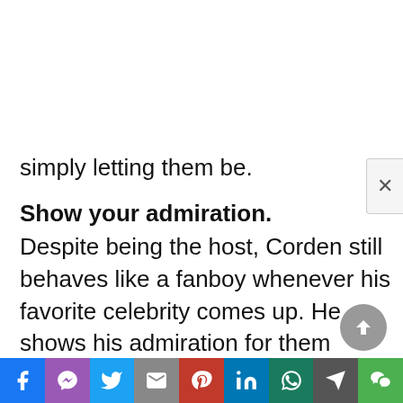simply letting them be.
Show your admiration.
Despite being the host, Corden still behaves like a fanboy whenever his favorite celebrity comes up. He shows his admiration for them without filter without having pride in being the host or whatever. It's heart-warming to see when someone is no filter.
Suggested read: Kim Kardashian Net Worth